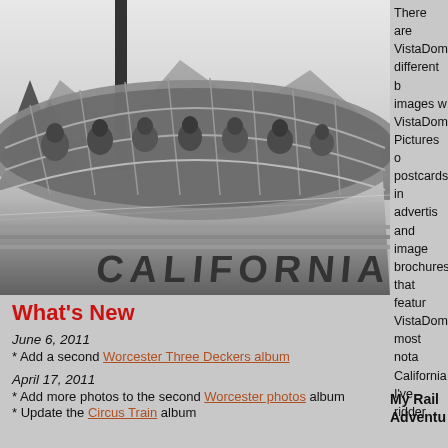[Figure (photo): Black and white photograph of a California Vistadome train car with passengers visible through the large curved glass dome windows, taken from a low angle showing the side of the train.]
There are VistaDome different images w VistaDome Pictures o postcards, in advertis and image brochures that featu VistaDom most nota California I've ridde VistaDom have pictu inside anc of these c
What's New
June 6, 2011
* Add a second Worcester Three Deckers album
April 17, 2011
* Add more photos to the second Worcester photos album
* Update the Circus Train album
My Rail Adventures